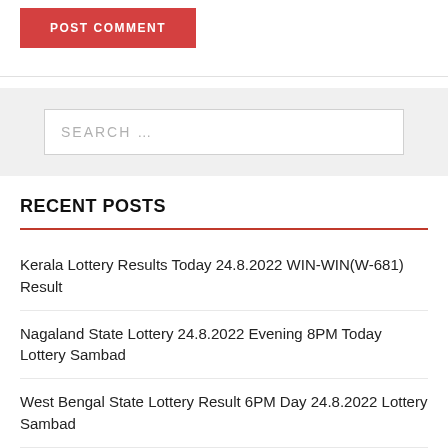POST COMMENT
SEARCH …
RECENT POSTS
Kerala Lottery Results Today 24.8.2022 WIN-WIN(W-681) Result
Nagaland State Lottery 24.8.2022 Evening 8PM Today Lottery Sambad
West Bengal State Lottery Result 6PM Day 24.8.2022 Lottery Sambad
Sikkim State Lottery Result 1PM Morning 24.8.2022 Today Live Result
Nagaland Lottery Results Today 7.8.2022 FIFTH PICTURE 11...